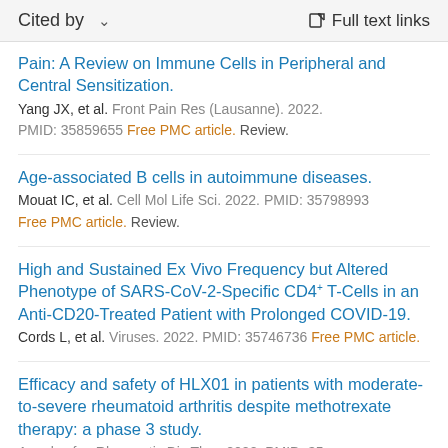Cited by   ∨   Full text links
Pain: A Review on Immune Cells in Peripheral and Central Sensitization.
Yang JX, et al. Front Pain Res (Lausanne). 2022. PMID: 35859655 Free PMC article. Review.
Age-associated B cells in autoimmune diseases.
Mouat IC, et al. Cell Mol Life Sci. 2022. PMID: 35798993 Free PMC article. Review.
High and Sustained Ex Vivo Frequency but Altered Phenotype of SARS-CoV-2-Specific CD4+ T-Cells in an Anti-CD20-Treated Patient with Prolonged COVID-19.
Cords L, et al. Viruses. 2022. PMID: 35746736 Free PMC article.
Efficacy and safety of HLX01 in patients with moderate-to-severe rheumatoid arthritis despite methotrexate therapy: a phase 3 study.
Annals of ... Rheumatic Dis Ther. 2022. PMID: 35...